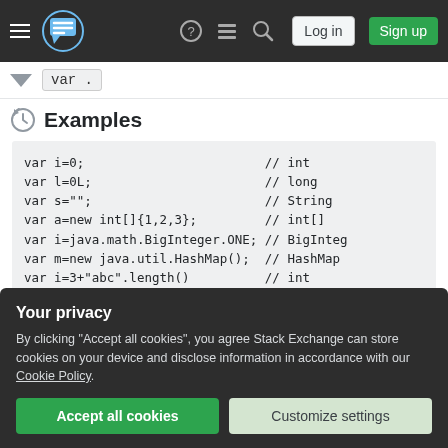Stack Exchange navigation bar with hamburger menu, logo, help, chat, search, Log in, Sign up
var .
Examples
var i=0;                        // int
var l=0L;                       // long
var s="";                       // String
var a=new int[]{1,2,3};         // int[]
var i=java.math.BigInteger.ONE; // BigInteg
var m=new java.util.HashMap();  // HashMap
var i=3+"abc".length()          // int
var a="a b c".split(" ");       // String[]
for(var a:"a b c".split(" "))   // String
Your privacy
By clicking "Accept all cookies", you agree Stack Exchange can store cookies on your device and disclose information in accordance with our Cookie Policy.
Accept all cookies
Customize settings
var a={1,2,3};                  // arrays must be ex
var f=...+""....                // can't know what